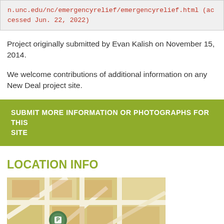n.unc.edu/nc/emergencyrelief/emergencyrelief.html (accessed Jun. 22, 2022)
Project originally submitted by Evan Kalish on November 15, 2014.
We welcome contributions of additional information on any New Deal project site.
SUBMIT MORE INFORMATION OR PHOTOGRAPHS FOR THIS SITE
LOCATION INFO
[Figure (map): Street map showing location of New Deal project site with a marker icon]